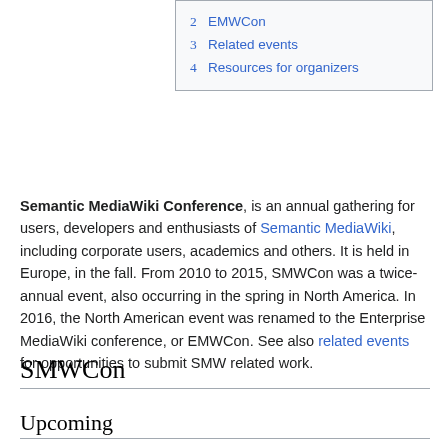2 EMWCon
3 Related events
4 Resources for organizers
Semantic MediaWiki Conference, is an annual gathering for users, developers and enthusiasts of Semantic MediaWiki, including corporate users, academics and others. It is held in Europe, in the fall. From 2010 to 2015, SMWCon was a twice-annual event, also occurring in the spring in North America. In 2016, the North American event was renamed to the Enterprise MediaWiki conference, or EMWCon. See also related events for opportunities to submit SMW related work.
SMWCon
Upcoming